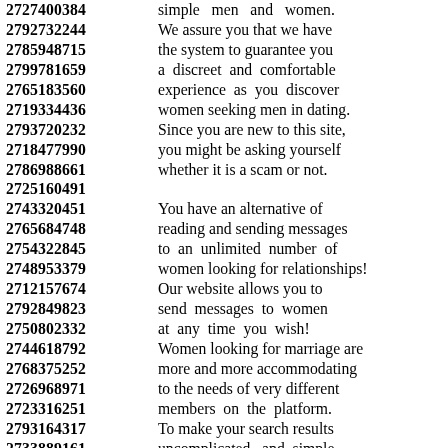2727400384 simple men and women.
2792732244 We assure you that we have
2785948715 the system to guarantee you
2799781659 a discreet and comfortable
2765183560 experience as you discover
2719334436 women seeking men in dating.
2793720232 Since you are new to this site,
2718477990 you might be asking yourself
2786988661 whether it is a scam or not.
2725160491
2743320451 You have an alternative of
2765684748 reading and sending messages
2754322845 to an unlimited number of
2748953379 women looking for relationships!
2712157674 Our website allows you to
2792849823 send messages to women
2750802332 at any time you wish!
2744618792 Women looking for marriage are
2768375252 more and more accommodating
2726968971 to the needs of very different
2723316251 members on the platform.
2793164317 To make your search results
2733889161 uncomplicated, and simple
2745652824 system designed for women
2714819868 looking for single men,
2703345333 ...like and the best...